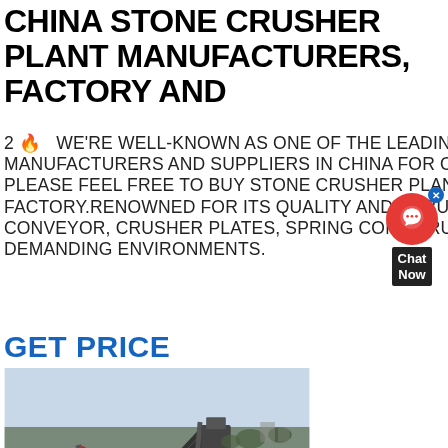CHINA STONE CRUSHER PLANT MANUFACTURERS, FACTORY AND
2 🔥  WE'RE WELL-KNOWN AS ONE OF THE LEADING STONE CRUSHER PLANT MANUFACTURERS AND SUPPLIERS IN CHINA FOR OUR QUALITY PRODUCTS AND LOW PRICE. PLEASE FEEL FREE TO BUY STONE CRUSHER PLANT MADE IN CHINA HERE FROM OUR FACTORY.RENOWNED FOR ITS QUALITY AND ROBUSTNESS, OUR ROLLER FOR BELT CONVEYOR, CRUSHER PLATES, SPRING CONE CRUSHER IS RELIABLE EVEN IN THE MOST DEMANDING ENVIRONMENTS.
GET PRICE
[Figure (photo): Aerial/overhead view of a stone crusher plant showing conveyor belts and crushed stone/gravel on the ground, industrial machinery visible]